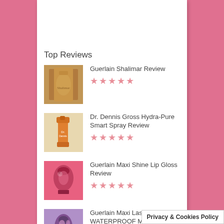Top Reviews
Guerlain Shalimar Review ★★★★★
Dr. Dennis Gross Hydra-Pure Smart Spray Review ★★★★★
Guerlain Maxi Shine Lip Gloss Review ★★★★★
Guerlain Maxi Lash WATERPROOF Mascara Review ★★★★★
CAUDALIE Beauty E…
Privacy & Cookies Policy